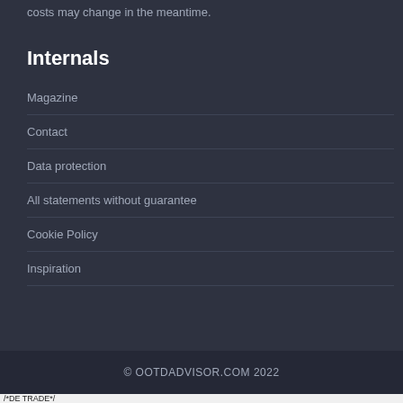costs may change in the meantime.
Internals
Magazine
Contact
Data protection
All statements without guarantee
Cookie Policy
Inspiration
© OOTDADVISOR.COM 2022
/*DE TRADE*/